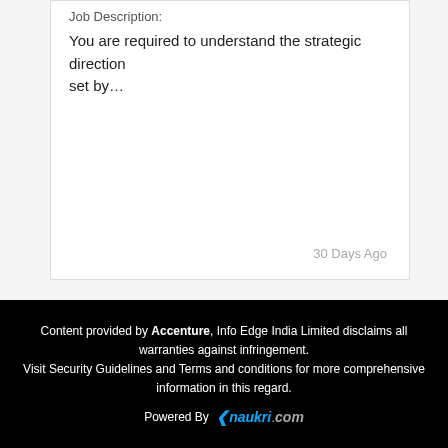Job Description:
You are required to understand the strategic direction set by…
30 Days Ago
Content provided by Accenture, Info Edge India Limited disclaims all warranties against infringement. Visit Security Guidelines and Terms and conditions for more comprehensive information in this regard. Powered By naukri.com